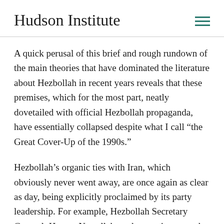Hudson Institute
A quick perusal of this brief and rough rundown of the main theories that have dominated the literature about Hezbollah in recent years reveals that these premises, which for the most part, neatly dovetailed with official Hezbollah propaganda, have essentially collapsed despite what I call “the Great Cover-Up of the 1990s.”
Hezbollah’s organic ties with Iran, which obviously never went away, are once again as clear as day, being explicitly proclaimed by its party leadership. For example, Hezbollah Secretary General, Hassan Nasrallah made sure, in a speech on May 26, 2008 commemorating the Israeli withdrawal from south